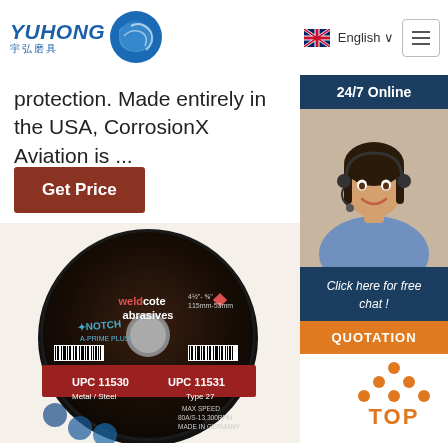YUHONG 宇弘磨具 — English
protection. Made entirely in the USA, CorrosionX Aviation is ...
Get Price
[Figure (photo): 24/7 Online customer service representative wearing headset, smiling]
Click here for free chat !
QUOTATION
[Figure (photo): Weldcote abrasives NOTCH A-PRIME PLUS grinding disc, UPC 11530 / UPC 11531, Type 27, Metal/Steel, Made in Germany]
[Figure (logo): TOP icon with orange dots arranged in triangle above the word TOP]